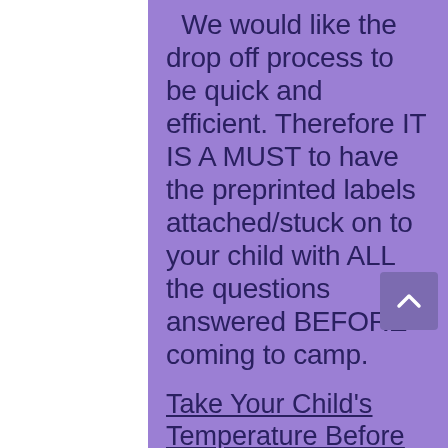We would like the drop off process to be quick and efficient. Therefore IT IS A MUST to have the preprinted labels attached/stuck on to your child with ALL the questions answered BEFORE coming to camp.
Take Your Child's Temperature Before